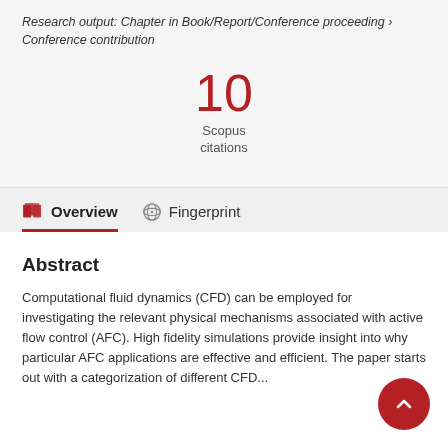Research output: Chapter in Book/Report/Conference proceeding › Conference contribution
10
Scopus
citations
Overview   Fingerprint
Abstract
Computational fluid dynamics (CFD) can be employed for investigating the relevant physical mechanisms associated with active flow control (AFC). High fidelity simulations provide insight into why particular AFC applications are effective and efficient. The paper starts out with a categorization of different CFD...